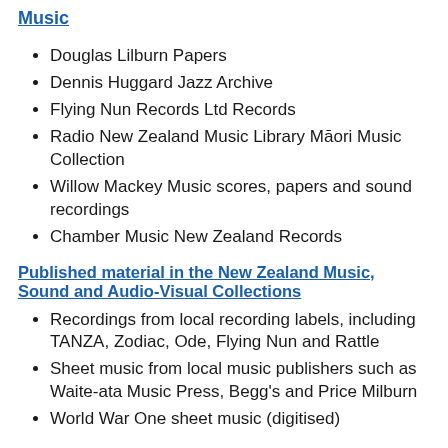Music
Douglas Lilburn Papers
Dennis Huggard Jazz Archive
Flying Nun Records Ltd Records
Radio New Zealand Music Library Māori Music Collection
Willow Mackey Music scores, papers and sound recordings
Chamber Music New Zealand Records
Published material in the New Zealand Music, Sound and Audio-Visual Collections
Recordings from local recording labels, including TANZA, Zodiac, Ode, Flying Nun and Rattle
Sheet music from local music publishers such as Waite-ata Music Press, Begg's and Price Milburn
World War One sheet music (digitised)